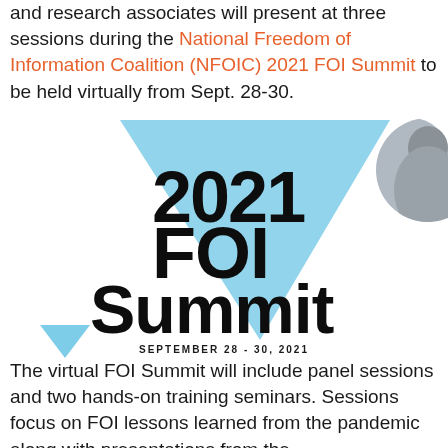and research associates will present at three sessions during the National Freedom of Information Coalition (NFOIC) 2021 FOI Summit to be held virtually from Sept. 28-30.
[Figure (logo): 2021 FOI Summit logo with large bold black text '2021 FOI Summit' on white background with light blue triangle graphic element, and 'SEPTEMBER 28 - 30, 2021' below. A partial circular photo of a person is visible at top right.]
The virtual FOI Summit will include panel sessions and two hands-on training seminars. Sessions focus on FOI lessons learned from the pandemic along with presentations from the country's top freedom of...